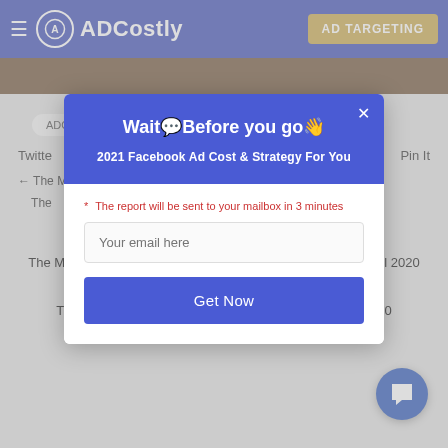ADCostly | AD TARGETING
[Figure (screenshot): Dark brownish image strip partially visible]
ADCostly
Twitter  Pin It
← The M... 2020
The... h 2020 →
Related articles to this post
The Music category facebook ads cost in HK & TW & MO April 2020
The Music category facebook ads cost in Japan April
The Music category facebook ads cost in Korea April 2020
[Figure (other): Modal popup: Wait Before you go - 2021 Facebook Ad Cost & Strategy For You, email input, Get Now button]
* The report will be sent to your mailbox in 3 minutes
Your email here
Get Now